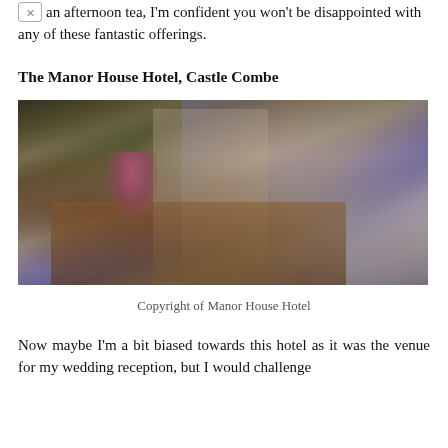an afternoon tea, I'm confident you won't be disappointed with any of these fantastic offerings.
The Manor House Hotel, Castle Combe
[Figure (photo): Interior photo of a hotel lounge with a three-tier afternoon tea stand on a wooden table, teacups, scones, cakes, pink orchid flowers in a purple vase, and plush sofas with purple and yellow floral cushions in the background.]
Copyright of Manor House Hotel
Now maybe I'm a bit biased towards this hotel as it was the venue for my wedding reception, but I would challenge